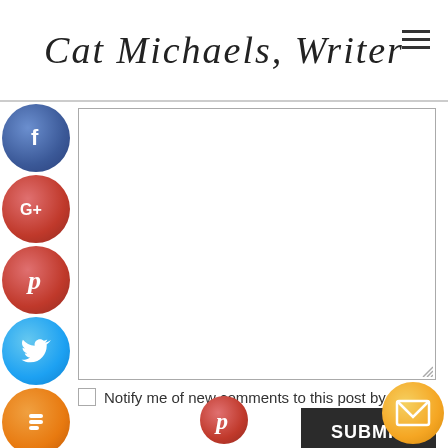Cat Michaels, Writer
[Figure (screenshot): Social media share buttons sidebar: Facebook (blue circle), Google+ (red circle), Pinterest (red circle), Twitter (blue circle), Blogger (orange circle), More (gray circle)]
Comment text area (empty)
Notify me of new comments to this post by email
SUBMIT
[Figure (illustration): Orange email envelope FAB button (bottom right)]
[Figure (logo): Pinterest red circle button (bottom center)]